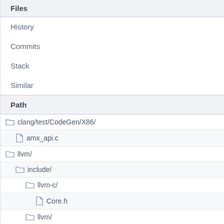Files
History
Commits
Stack
Similar
Path
clang/test/CodeGen/X86/
amx_api.c
llvm/
include/
llvm-c/
Core.h
llvm/
Bitcode/
LLVMBitCodes.h
CodeGen/
ValueTypes.td